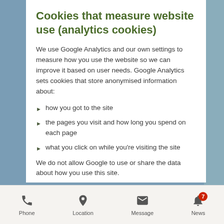Cookies that measure website use (analytics cookies)
We use Google Analytics and our own settings to measure how you use the website so we can improve it based on user needs. Google Analytics sets cookies that store anonymised information about:
how you got to the site
the pages you visit and how long you spend on each page
what you click on while you're visiting the site
We do not allow Google to use or share the data about how you use this site.
Phone | Location | Message | News (7)